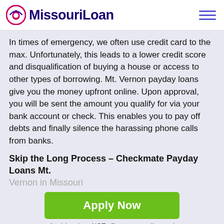MissouriLoan
In times of emergency, we often use credit card to the max. Unfortunately, this leads to a lower credit score and disqualification of buying a house or access to other types of borrowing. Mt. Vernon payday loans give you the money upfront online. Upon approval, you will be sent the amount you qualify for via your bank account or check. This enables you to pay off debts and finally silence the harassing phone calls from banks.
Skip the Long Process – Checkmate Payday Loans Mt. Vernon in Missouri
[Figure (other): Green Apply Now button with text 'Applying does NOT affect your credit score! No credit check to apply.']
Payday lending is much simpler than taking out an auto loan or a mortgage. It releases cash to individuals for a short-term or an emergency. The amount given is dependent on income and the proper documents